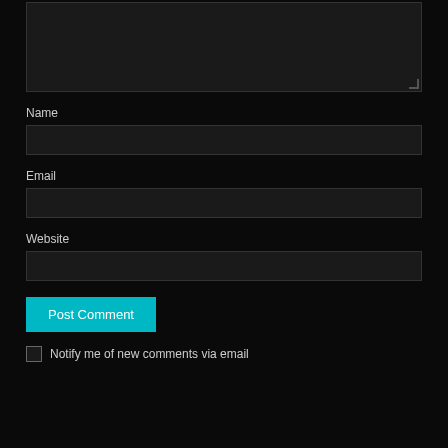[Figure (screenshot): Comment textarea box (dark background, resize handle at bottom-right)]
Name
[Figure (screenshot): Name input field (dark background)]
Email
[Figure (screenshot): Email input field (dark background)]
Website
[Figure (screenshot): Website input field (dark background)]
Post Comment
Notify me of new comments via email